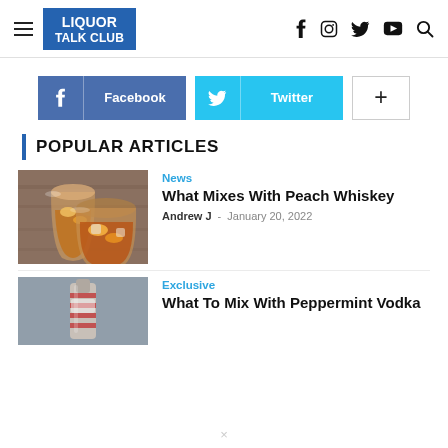LIQUOR TALK CLUB — navigation header with hamburger menu, logo, and social icons (f, Instagram, Twitter, YouTube, Search)
[Figure (screenshot): Facebook share button (dark blue with f icon and 'Facebook' label)]
[Figure (screenshot): Twitter share button (light blue with bird icon and 'Twitter' label)]
[Figure (screenshot): Plus/follow button (white with + icon)]
POPULAR ARTICLES
[Figure (photo): Two glasses of peach whiskey cocktail with ice and peach slices on a wooden table]
News
What Mixes With Peach Whiskey
Andrew J  -  January 20, 2022
[Figure (photo): Bottle of peppermint vodka with candy cane striped label on a gray background]
Exclusive
What To Mix With Peppermint Vodka
×